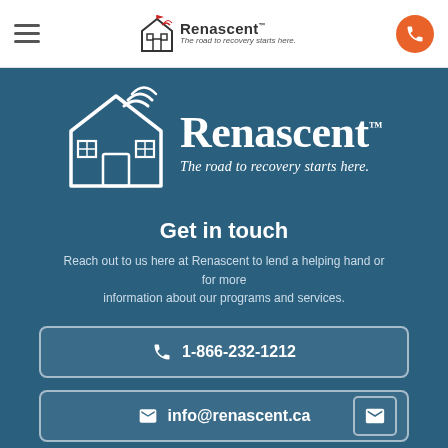Renascent – The road to recovery starts here.
[Figure (logo): Renascent logo with house illustration and tagline 'The road to recovery starts here.']
Get in touch
Reach out to us here at Renascent to lend a helping hand or for more information about our programs and services.
📞 1-866-232-1212
✉ info@renascent.ca